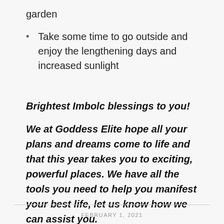garden
Take some time to go outside and enjoy the lengthening days and increased sunlight
Brightest Imbolc blessings to you!
We at Goddess Elite hope all your plans and dreams come to life and that this year takes you to exciting, powerful places. We have all the tools you need to help you manifest your best life, let us know how we can assist you.
FEBRUARY 1, 2021